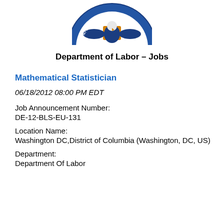[Figure (logo): United States Department of Labor seal/emblem, circular, partially visible at top of page]
Department of Labor – Jobs
Mathematical Statistician
06/18/2012 08:00 PM EDT
Job Announcement Number:
DE-12-BLS-EU-131
Location Name:
Washington DC,District of Columbia (Washington, DC, US)
Department:
Department Of Labor